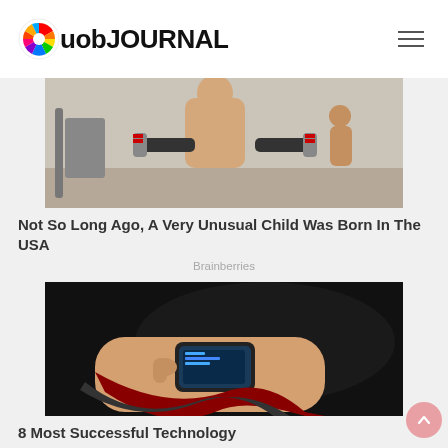uob JOURNAL
[Figure (photo): A muscular shirtless child holding large dumbbells in a gym, with another child visible in the background]
Not So Long Ago, A Very Unusual Child Was Born In The USA
Brainberries
[Figure (photo): A futuristic wearable technology device on a forearm, showing a digital display and red/black geometric patterns]
8 Most Successful Technology